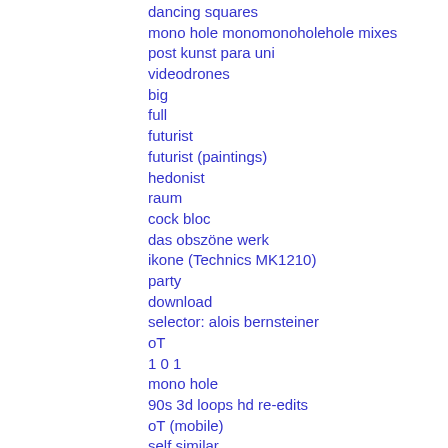dancing squares
mono hole monomonoholehole mixes
post kunst para uni
videodrones
big
full
futurist
futurist (paintings)
hedonist
raum
cock bloc
das obszöne werk
ikone (Technics MK1210)
party
download
selector: alois bernsteiner
oT
1 0 1
mono hole
90s 3d loops hd re-edits
oT (mobile)
self similar
pinkpink
oT (low code)
flesh flashes
kapitalsymbol
ohne theorie keine revolution